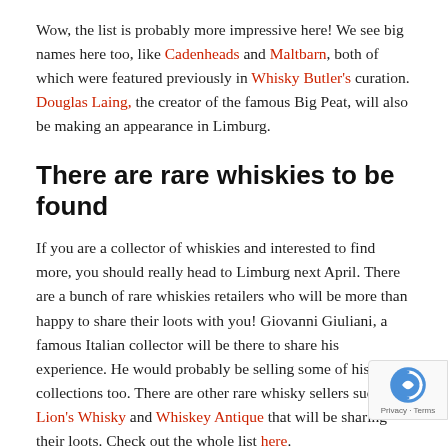Wow, the list is probably more impressive here! We see big names here too, like Cadenheads and Maltbarn, both of which were featured previously in Whisky Butler's curation. Douglas Laing, the creator of the famous Big Peat, will also be making an appearance in Limburg.
There are rare whiskies to be found
If you are a collector of whiskies and interested to find more, you should really head to Limburg next April. There are a bunch of rare whiskies retailers who will be more than happy to share their loots with you! Giovanni Giuliani, a famous Italian collector will be there to share his experience. He would probably be selling some of his rare collections too. There are other rare whisky sellers such as Lion's Whisky and Whiskey Antique that will be sharing their loots. Check out the whole list here.
It is a once-in-a-lifetime experience